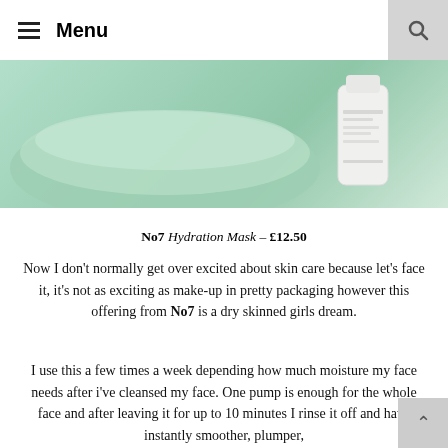Menu
[Figure (photo): Photo showing a green/mint coloured bowl or plate and a white skincare bottle/tube (No7 Hydration Mask) on a mint green surface]
No7 Hydration Mask – £12.50
Now I don't normally get over excited about skin care because let's face it, it's not as exciting as make-up in pretty packaging however this offering from No7 is a dry skinned girls dream.
I use this a few times a week depending how much moisture my face needs after i've cleansed my face. One pump is enough for the whole face and after leaving it for up to 10 minutes I rinse it off and have instantly smoother, plumper,